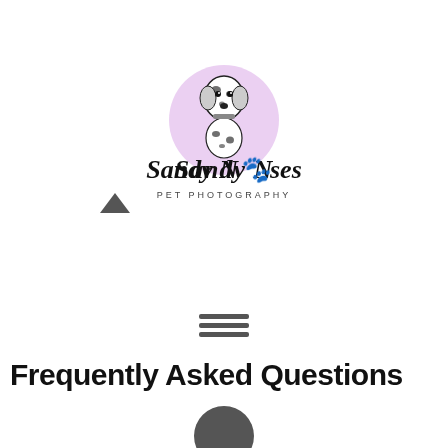[Figure (logo): Sandy Noses Pet Photography logo: a Dalmatian dog inside a pink/lavender circle, with stylized script text 'Sandy Noses' and subtitle 'PET PHOTOGRAPHY' below]
[Figure (other): Hamburger menu icon with three horizontal lines]
Frequently Asked Questions
[Figure (other): Partial dark circle visible at bottom center of page (likely a profile image or decorative element)]